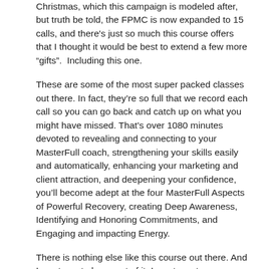Christmas, which this campaign is modeled after, but truth be told, the FPMC is now expanded to 15 calls, and there's just so much this course offers that I thought it would be best to extend a few more “gifts”.  Including this one.
These are some of the most super packed classes out there. In fact, they’re so full that we record each call so you can go back and catch up on what you might have missed. That’s over 1080 minutes devoted to revealing and connecting to your MasterFull coach, strengthening your skills easily and automatically, enhancing your marketing and client attraction, and deepening your confidence, you’ll become adept at the four MasterFull Aspects of Powerful Recovery, creating Deep Awareness, Identifying and Honoring Commitments, and Engaging and impacting Energy.
There is nothing else like this course out there. And I want you to be a part of it. I want you to